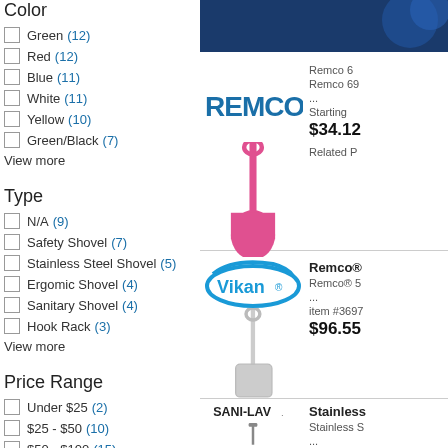Color
Green (12)
Red (12)
Blue (11)
White (11)
Yellow (10)
Green/Black (7)
View more
Type
N/A (9)
Safety Shovel (7)
Stainless Steel Shovel (5)
Ergomic Shovel (4)
Sanitary Shovel (4)
Hook Rack (3)
View more
Price Range
Under $25 (2)
$25 - $50 (10)
$50 - $100 (15)
$100 - $150 (2)
[Figure (logo): REMCO brand logo in bold blue text with pink shovel product image]
Remco 6... Remco 69... ... Starting $34.12 Related P...
[Figure (logo): Vikan brand logo with blue oval and grey shovel product image]
Remco® 5... ... item #3697 $96.55
[Figure (logo): SANI-LAV brand logo in black text with stainless steel shovel product image]
Stainless S... item #2401 $234.07